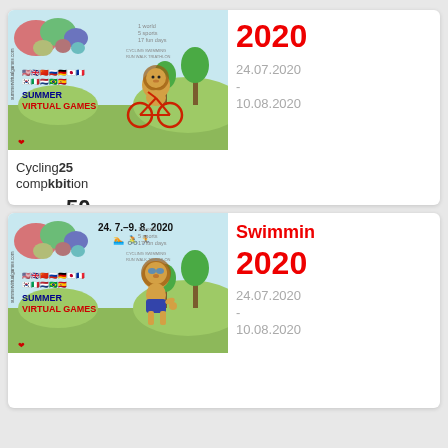[Figure (illustration): Summer Virtual Games banner with cartoon lion riding bicycle, world map, country flags, text 'SUMMER VIRTUAL GAMES', cycling swimming run walk triathlon sports listed, summervirtualgames.com watermark]
Cycling 25
completion
50
km
2020
24.07.2020
-
10.08.2020
[Figure (illustration): Summer Virtual Games banner with cartoon lion in swimming goggles and shorts, world map, country flags, date 24. 7.–9. 8. 2020, text 'SUMMER VIRTUAL GAMES', summervirtualgames.com watermark]
Swimming
2020
24.07.2020
-
10.08.2020